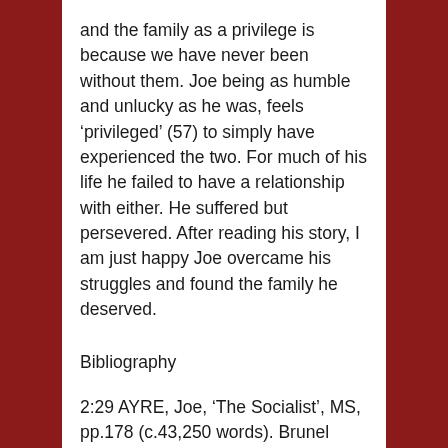and the family as a privilege is because we have never been without them. Joe being as humble and unlucky as he was, feels ‘privileged’ (57) to simply have experienced the two. For much of his life he failed to have a relationship with either. He suffered but persevered. After reading his story, I am just happy Joe overcame his struggles and found the family he deserved.
Bibliography
2:29 AYRE, Joe, ‘The Socialist’, MS, pp.178 (c.43,250 words). Brunel University Library